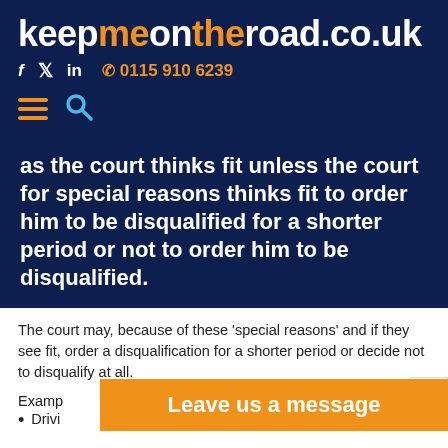keepmeontheroad.co.uk
f  in  0115 910 6239
as the court thinks fit unless the court for special reasons thinks fit to order him to be disqualified for a shorter period or not to order him to be disqualified.
The court may, because of these ‘special reasons’ and if they see fit, order a disqualification for a shorter period or decide not to disqualify at all.
Examp
Drivi
Leave us a message